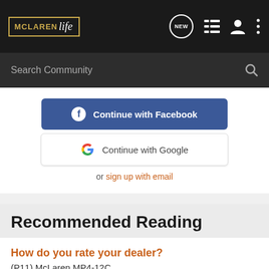MCLAREN life
Search Community
Continue with Facebook
Continue with Google
or sign up with email
Recommended Reading
How do you rate your dealer?
(P11) McLaren MP4-12C
25  4K